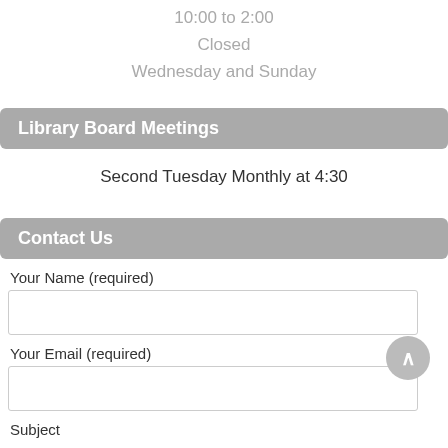10:00 to 2:00
Closed
Wednesday and Sunday
Library Board Meetings
Second Tuesday Monthly at 4:30
Contact Us
Your Name (required)
Your Email (required)
Subject